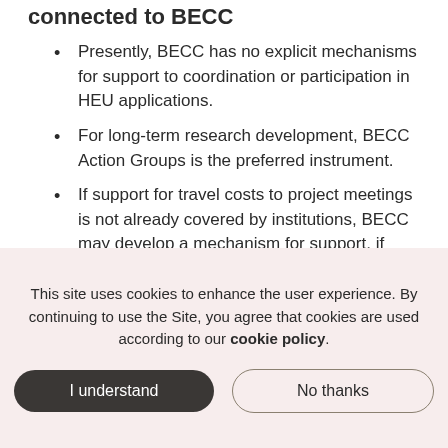connected to BECC
Presently, BECC has no explicit mechanisms for support to coordination or participation in HEU applications.
For long-term research development, BECC Action Groups is the preferred instrument.
If support for travel costs to project meetings is not already covered by institutions, BECC may develop a mechanism for support, if needed.
Support regarding stakeholder contacts and management is coordinated by Research Coordinator Juliana Dänhardt.
This site uses cookies to enhance the user experience. By continuing to use the Site, you agree that cookies are used according to our cookie policy.
I understand
No thanks